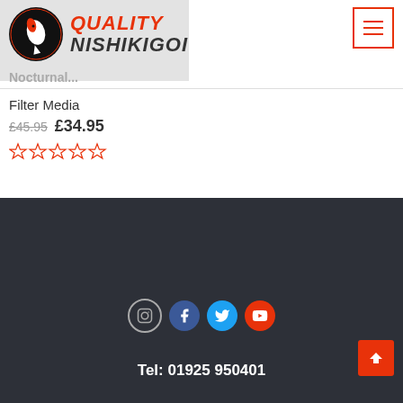[Figure (logo): Quality Nishikigoi logo with circular black badge and stylized koi fish, red and white brand mark, text reading QUALITY NISHIKIGOI]
[Figure (other): Hamburger menu button with orange border and three horizontal lines]
[Figure (photo): Product image placeholder (blurred/faded area at top left)]
Filter Media
£45.95 £34.95
[Figure (other): Star rating display showing 0 out of 5 stars in orange outline stars]
[Figure (other): Social media icons: Instagram (outline circle), Facebook (blue), Twitter (blue), YouTube (red)]
Tel: 01925 950401